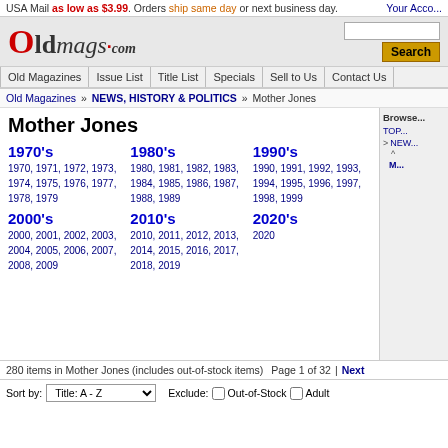USA Mail as low as $3.99. Orders ship same day or next business day. Your Account
[Figure (logo): OldMags.com logo in red and black]
Old Magazines | Issue List | Title List | Specials | Sell to Us | Contact Us
Old Magazines » NEWS, HISTORY & POLITICS » Mother Jones
Mother Jones
1970's
1970, 1971, 1972, 1973, 1974, 1975, 1976, 1977, 1978, 1979
1980's
1980, 1981, 1982, 1983, 1984, 1985, 1986, 1987, 1988, 1989
1990's
1990, 1991, 1992, 1993, 1994, 1995, 1996, 1997, 1998, 1999
2000's
2000, 2001, 2002, 2003, 2004, 2005, 2006, 2007, 2008, 2009
2010's
2010, 2011, 2012, 2013, 2014, 2015, 2016, 2017, 2018, 2019
2020's
2020
280 items in Mother Jones (includes out-of-stock items) Page 1 of 32 | Next
Sort by: Title: A - Z   Exclude: Out-of-Stock  Adult